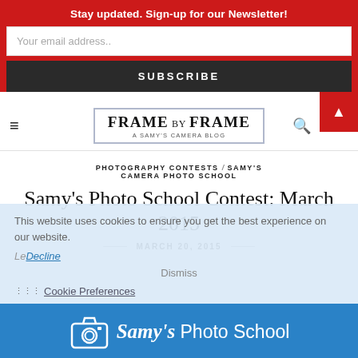Stay updated. Sign-up for our Newsletter!
Your email address..
SUBSCRIBE
[Figure (logo): Frame by Frame — A Samy's Camera Blog logo]
PHOTOGRAPHY CONTESTS / SAMY'S CAMERA PHOTO SCHOOL
Samy's Photo School Contest: March 2015
MARCH 20, 2015
This website uses cookies to ensure you get the best experience on our website.
Decline
Dismiss
Cookie Preferences
[Figure (logo): Samy's Photo School logo on blue banner]